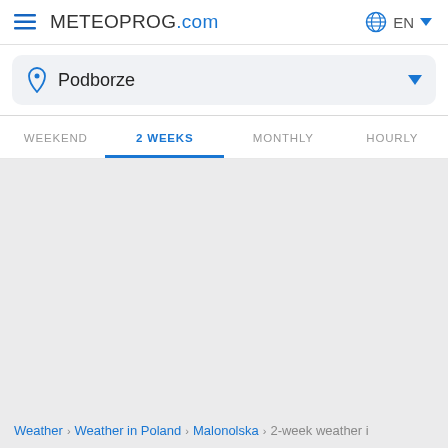METEOPROG.com  EN
Podborze
WEEKEND  2 WEEKS  MONTHLY  HOURLY
Weather > Weather in Poland > Malonolska > 2-week weather i